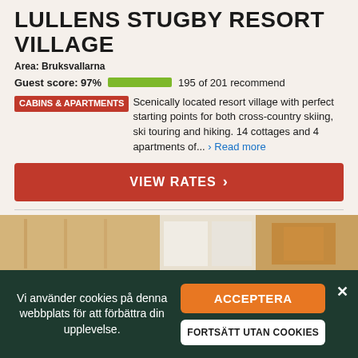LULLENS STUGBY RESORT VILLAGE
Area: Bruksvallarna
Guest score: 97%  195 of 201 recommend
CABINS & APARTMENTS  Scenically located resort village with perfect starting points for both cross-country skiing, ski touring and hiking. 14 cottages and 4 apartments of...  Read more
VIEW RATES >
[Figure (photo): Interior photo of a cabin/room with wooden walls and shelving]
Vi använder cookies på denna webbplats för att förbättra din upplevelse.
ACCEPTERA
FORTSÄTT UTAN COOKIES